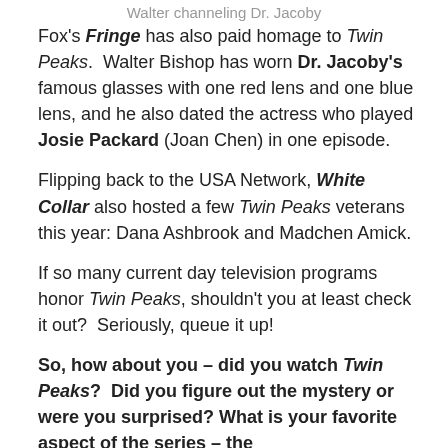Walter channeling Dr. Jacoby
Fox's Fringe has also paid homage to Twin Peaks.  Walter Bishop has worn Dr. Jacoby's famous glasses with one red lens and one blue lens, and he also dated the actress who played Josie Packard (Joan Chen) in one episode.
Flipping back to the USA Network, White Collar also hosted a few Twin Peaks veterans this year: Dana Ashbrook and Madchen Amick.
If so many current day television programs honor Twin Peaks, shouldn't you at least check it out?  Seriously, queue it up!
So, how about you – did you watch Twin Peaks?  Did you figure out the mystery or were you surprised? What is your favorite aspect of the series – the